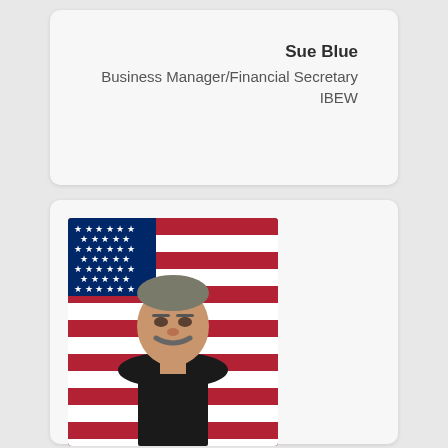Sue Blue
Business Manager/Financial Secretary
IBEW
[Figure (photo): Portrait photo of a man with a mustache in a dark uniform, posed in front of an American flag background.]